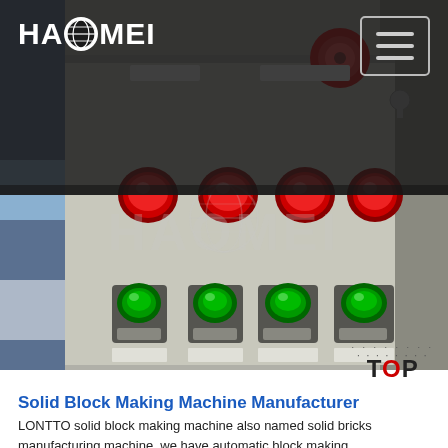[Figure (photo): HAOMEI brand header with white logo on dark background with hamburger menu icon, overlaid on a photo of an industrial control panel with red and green push buttons on a grey metal surface, with a watermark of the HAOMEI logo across the control panel image]
Solid Block Making Machine Manufacturer in China
LONTTO solid block making machine also named solid bricks manufacturing machine, we have automatic block making